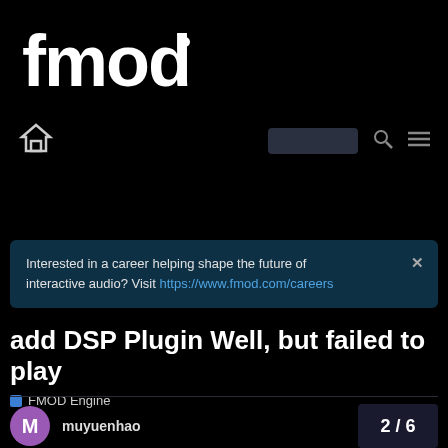[Figure (logo): FMOD logo in white on black background]
[Figure (screenshot): Navigation bar with home icon, search box, search icon, and menu icon]
Interested in a career helping shape the future of interactive audio? Visit https://www.fmod.com/careers
add DSP Plugin Well, but failed to play
FMOD Engine
muyuenhao Jul '18
2 / 6